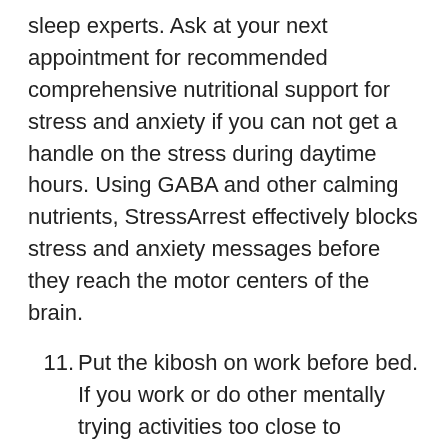sleep experts. Ask at your next appointment for recommended comprehensive nutritional support for stress and anxiety if you can not get a handle on the stress during daytime hours. Using GABA and other calming nutrients, StressArrest effectively blocks stress and anxiety messages before they reach the motor centers of the brain.
11. Put the kibosh on work before bed. If you work or do other mentally trying activities too close to bedtime, you may have a hard time relaxing for sleep.
And Now for Six Sleep Tips You May Not Know Of ...